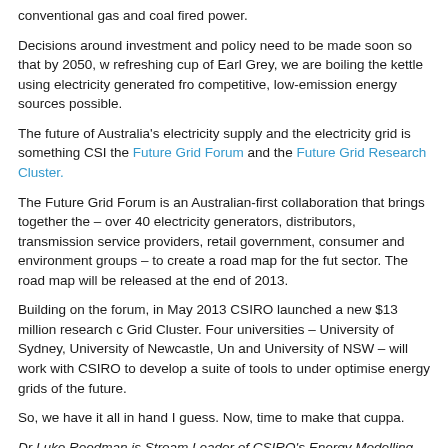conventional gas and coal fired power.
Decisions around investment and policy need to be made soon so that by 2050, when you are making a refreshing cup of Earl Grey, we are boiling the kettle using electricity generated from the most competitive, low-emission energy sources possible.
The future of Australia's electricity supply and the electricity grid is something CSIRO is addressing through the Future Grid Forum and the Future Grid Research Cluster.
The Future Grid Forum is an Australian-first collaboration that brings together the electricity industry – over 40 electricity generators, distributors, transmission service providers, retailers, as well as government, consumer and environment groups – to create a road map for the future of Australia's energy sector. The road map will be released at the end of 2013.
Building on the forum, in May 2013 CSIRO launched a new $13 million research cluster called the Future Grid Cluster. Four universities – University of Sydney, University of Newcastle, University of Melbourne and University of NSW – will work with CSIRO to develop a suite of tools to understand, model and optimise energy grids of the future.
So, we have it all in hand I guess. Now, time to make that cuppa.
Dr Luke Reedman is Stream Leader of CSIRO's Energy Modelling program and leads CSIRO's involvement with the Future Grid Cluster.